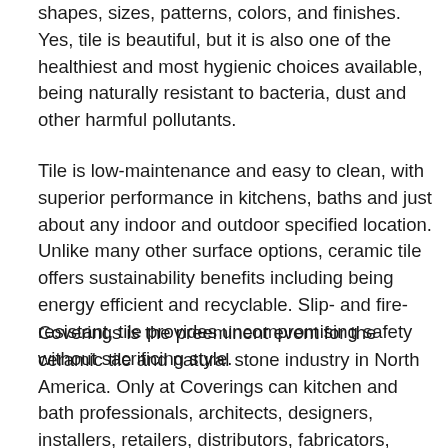shapes, sizes, patterns, colors, and finishes. Yes, tile is beautiful, but it is also one of the healthiest and most hygienic choices available, being naturally resistant to bacteria, dust and other harmful pollutants.
Tile is low-maintenance and easy to clean, with superior performance in kitchens, baths and just about any indoor and outdoor specified location. Unlike many other surface options, ceramic tile offers sustainability benefits including being energy efficient and recyclable. Slip- and fire-resistant, tile provides uncompromising safety without sacrificing style.
Coverings is the preeminent event for the ceramic tile and natural stone industry in North America. Only at Coverings can kitchen and bath professionals, architects, designers, installers, retailers, distributors, fabricators, contractors,